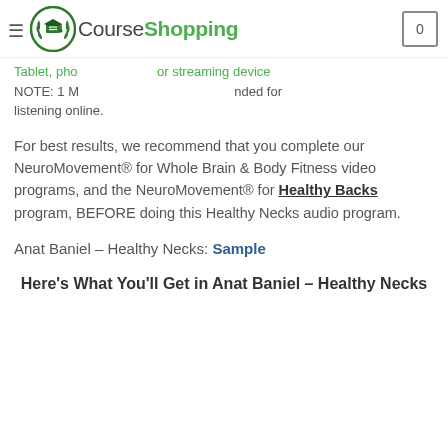CourseShopping
Tablet, phone, or other streaming device
NOTE: 1 MP3 download is included for listening online.
For best results, we recommend that you complete our NeuroMovement® for Whole Brain & Body Fitness video programs, and the NeuroMovement® for Healthy Backs program, BEFORE doing this Healthy Necks audio program.
Anat Baniel – Healthy Necks: Sample
Here's What You'll Get in Anat Baniel – Healthy Necks